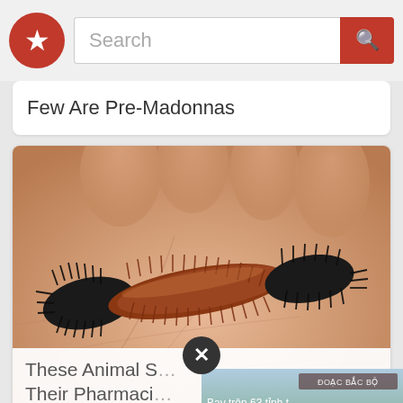Search
Few Are Pre-Madonnas
[Figure (photo): A woolly bear caterpillar with black ends and a reddish-brown middle band resting on a human palm, close-up photograph.]
These Animal S... Their Pharmaci...
Caption:  Madison
Source: Instagram
[Figure (screenshot): Aerial video thumbnail showing a Vietnamese city landscape from above, with text 'Bay trên 63 tỉnh t...' and 'ĐOẠC BẮC BỘ' label, PHU THO watermark at bottom, and a play button overlay.]